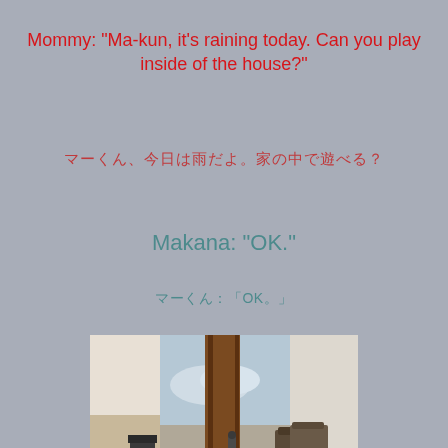Mommy: "Ma-kun, it's raining today. Can you play inside of the house?"
マーくん、今日は雨だよ。家の中で遊べる？
Makana: "OK."
マーくん：「OK。」
[Figure (photo): Indoor view looking through a sliding glass door frame toward a covered patio. The wooden door frame is visible in the center. Outside shows an overcast rainy sky, a BBQ grill on the left, and wicker patio chairs on the right. The floor is reflective tile.]